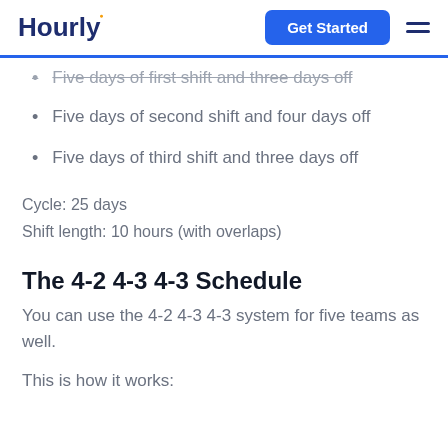Hourly | Get Started
Five days of first shift and three days off
Five days of second shift and four days off
Five days of third shift and three days off
Cycle: 25 days
Shift length: 10 hours (with overlaps)
The 4-2 4-3 4-3 Schedule
You can use the 4-2 4-3 4-3 system for five teams as well.
This is how it works: